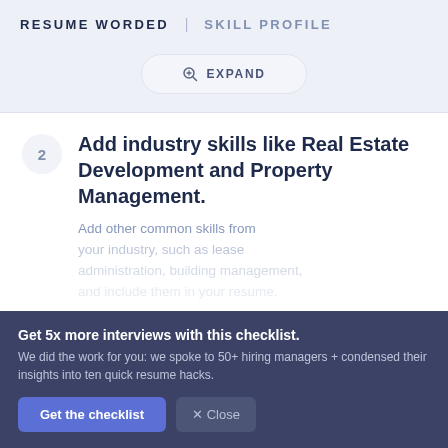RESUME WORDED | SKILL PROFILE
[Figure (screenshot): Expand button with magnifying glass icon]
2 Add industry skills like Real Estate Development and Property Management.
Add other common skills from your industry, such as lease administration, building management.
Get 5x more interviews with this checklist. We did the work for you: we spoke to 50+ hiring managers + condensed their insights into ten quick resume hacks.
Get the checklist
✕ Close